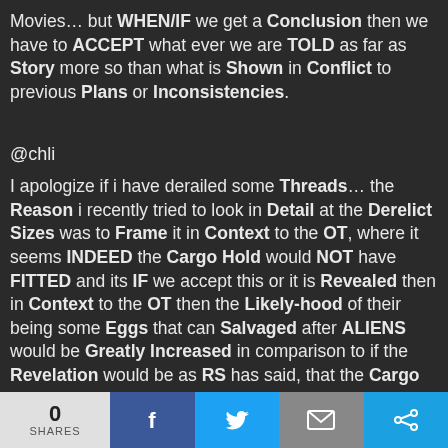Movies… but WHEN/IF we get a Conclusion then we have to ACCEPT what ever we are TOLD as far as Story more so than what is Shown in Conflict to previous Plans or Inconsistencies.
@chli
I apologize if i have derailed some Threads… the Reason i recently tried to look in Detail at the Derelict Sizes was to Frame it in Context to the OT, where it seems INDEED the Cargo Hold would NOT have FITTED and its IF we accept this or it is Revealed then in Context to the OT then the Likely-hood of their being some Eggs that can Salvaged after ALIENS would be Greatly Increased in comparison to if the Revelation would be as RS has said, that the Cargo Hold is part of the Ship.
I think it would, not matter Regardless because if
0 SHARES  [Facebook] [Twitter] [Mail] [Share]